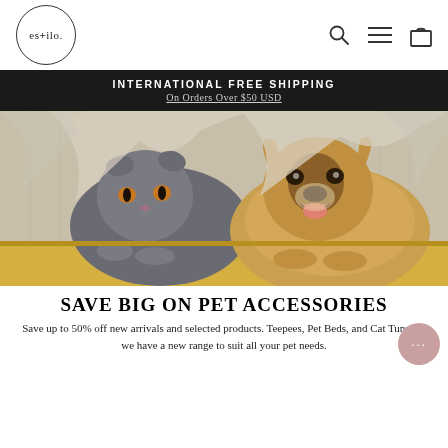es+ilo.
INTERNATIONAL FREE SHIPPING
On Orders Over $50 USD
[Figure (photo): A Scottish Fold cat and a Corgi dog lying side by side under a knitted blanket on a yellow surface, both looking at the camera.]
SAVE BIG ON PET ACCESSORIES
Save up to 50% off new arrivals and selected products. Teepees, Pet Beds, and Cat Tunnels, we have a new range to suit all your pet needs.